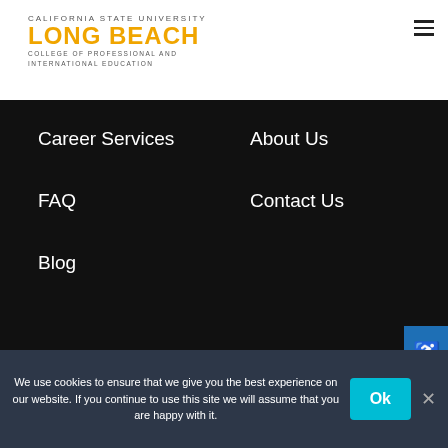[Figure (logo): California State University Long Beach, College of Professional and International Education logo]
Career Services
About Us
FAQ
Contact Us
Blog
Powered by ThriveDX
Privacy Policy
We use cookies to ensure that we give you the best experience on our website. If you continue to use this site we will assume that you are happy with it.